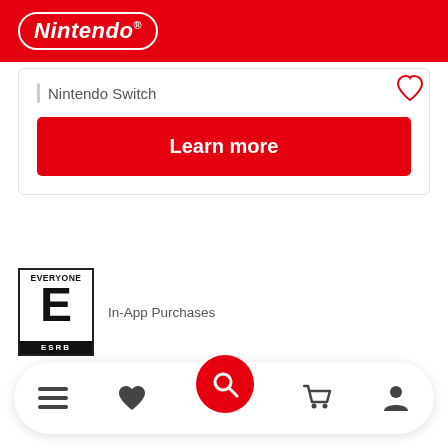[Figure (logo): Nintendo logo in white italic text with white oval border on red background]
Nintendo Switch
Learn more
[Figure (logo): ESRB Everyone rating badge with large E and ESRB label at bottom]
In-App Purchases
[Figure (infographic): Bottom navigation bar with hamburger menu, heart/wishlist, red search button, shopping cart, and user profile icons]